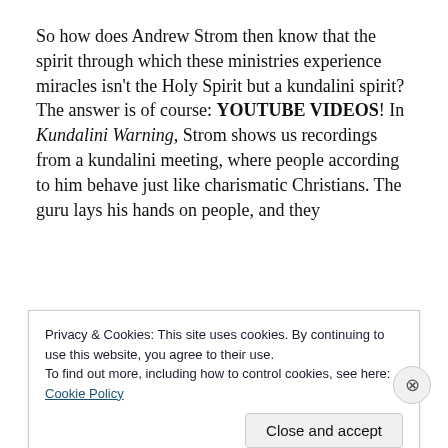So how does Andrew Strom then know that the spirit through which these ministries experience miracles isn't the Holy Spirit but a kundalini spirit? The answer is of course: YOUTUBE VIDEOS! In Kundalini Warning, Strom shows us recordings from a kundalini meeting, where people according to him behave just like charismatic Christians. The guru lays his hands on people, and they
Privacy & Cookies: This site uses cookies. By continuing to use this website, you agree to their use.
To find out more, including how to control cookies, see here: Cookie Policy